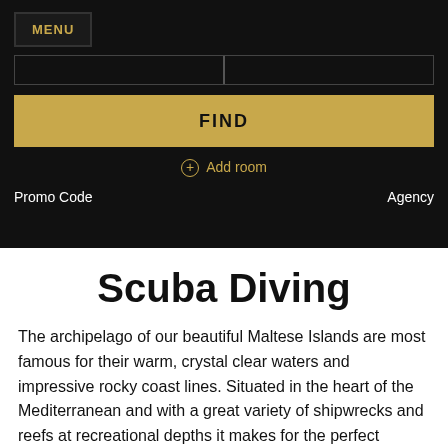MENU
FIND
+ Add room
Promo Code    Agency
Scuba Diving
The archipelago of our beautiful Maltese Islands are most famous for their warm, crystal clear waters and impressive rocky coast lines. Situated in the heart of the Mediterranean and with a great variety of shipwrecks and reefs at recreational depths it makes for the perfect destination to